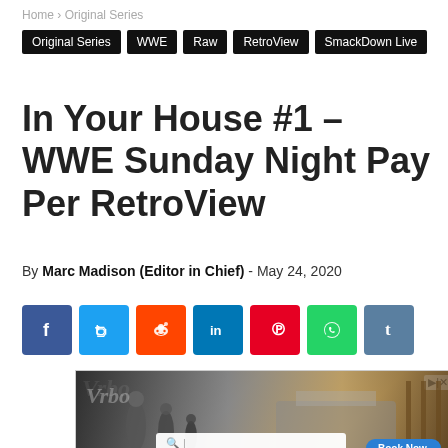Home › Original Series
Original Series
WWE
Raw
RetroView
SmackDown Live
In Your House #1 – WWE Sunday Night Pay Per RetroView
By Marc Madison (Editor in Chief) - May 24, 2020
[Figure (infographic): Social media share buttons: Facebook (blue), Twitter (light blue), Reddit (orange), LinkedIn (dark blue), Pinterest (red), WhatsApp (green), Tumblr (slate blue)]
[Figure (photo): Advertisement banner with Vrbo logo, search bar, people loading a car with luggage, and a Book Now button]